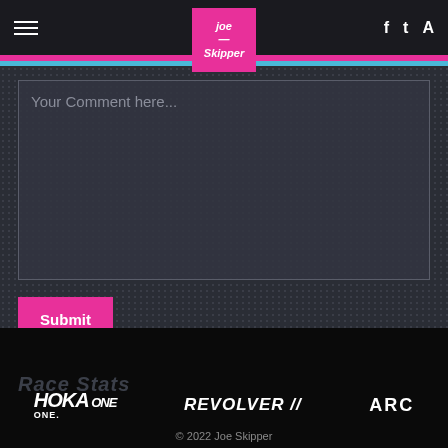Joe Skipper - navigation header with hamburger menu, logo, and social icons
Your Comment here...
Submit
Notify me of follow-up comments by email.
Notify me of new posts by email.
[Figure (logo): HOKA ONE ONE logo in white italic text]
[Figure (logo): REVOLVER II logo in white italic text]
[Figure (logo): ARC logo in white bold text (partially visible)]
© 2022 Joe Skipper